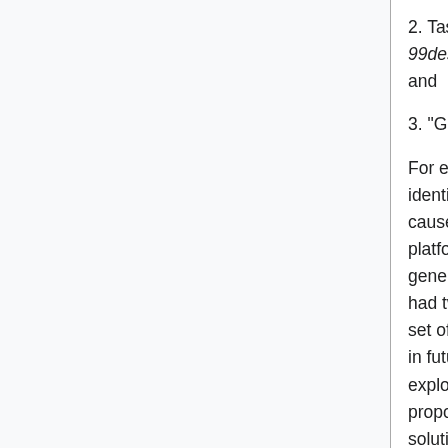2. Tasks requiring "professional" skills: 99designs[38] and InnoCentive[39]; and
3. "Game" tasks: Gwap[40].
For each of these tasks, we attempted to identify salient "problems": issues that cause concern for workers, employers, platforms, businesses, or society generally. In identifying problems, we had two goals. The first was to provide a set of new issues for others to build upon in future work. The second was to explore a small number of issues and propose our own context-specific solutions. In this sense, it was an exercise in both applying the Best Practices and inventing new solutions that either context or framing prevented the Best Practices from solving. In what